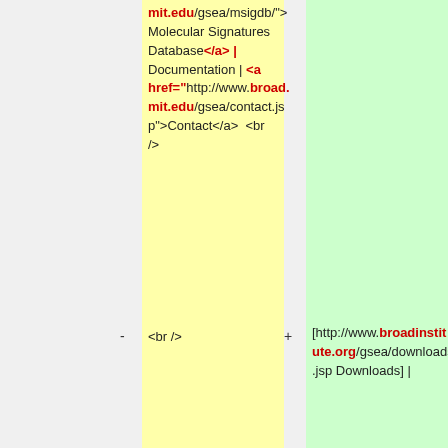mit.edu/gsea/msigdb/"> Molecular Signatures Database</a> | Documentation | <a href="http://www.broad.mit.edu/gsea/contact.jsp">Contact</a>  <br />
[http://www.broadinstitute.org/gsea/downloads.jsp Downloads] |
- <br />
[http://www.broadinstitute.org/gsea/msigdb/ Molecular Signatures Database] |
<p class="MsoListContinue">  </p>
Each gene set in the MSigDB (Molecular Signature Database) is fully described by a gene set page. From this web site, use the&nbsp; [http://www.broad.mit.edu/gsea/msigdb/